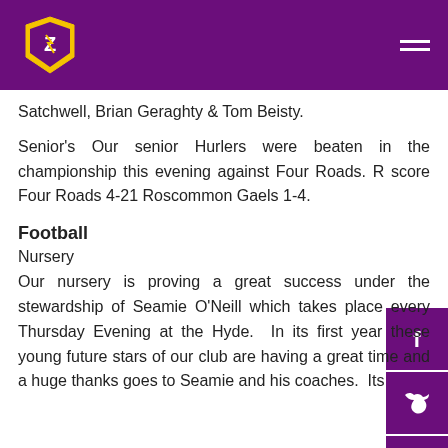Roscommon Gaels GAA Club
Satchwell, Brian Geraghty & Tom Beisty.
Senior's Our senior Hurlers were beaten in the championship this evening against Four Roads. R score Four Roads 4-21 Roscommon Gaels 1-4.
Football
Nursery
Our nursery is proving a great success under the stewardship of Seamie O'Neill which takes place every Thursday Evening at the Hyde.  In its first year these young future stars of our club are having a great time and a huge thanks goes to Seamie and his coaches.  Its